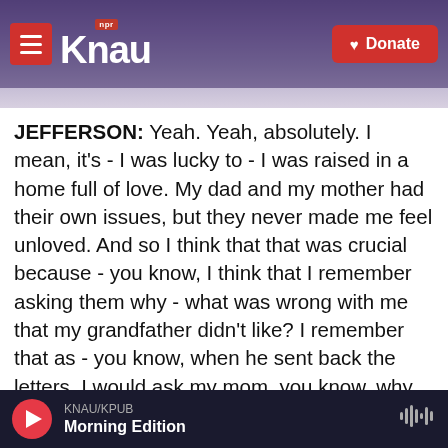KNAU NPR – Donate
JEFFERSON: Yeah. Yeah, absolutely. I mean, it's - I was lucky to - I was raised in a home full of love. My dad and my mother had their own issues, but they never made me feel unloved. And so I think that that was crucial because - you know, I think that I remember asking them why - what was wrong with me that my grandfather didn't like? I remember that as - you know, when he sent back the letters, I would ask my mom, you know, why doesn't he like me? And she would explain, it has nothing to do with you. He doesn't know you. He's just - he is a - I can't remember the term that she used, but she would make sure to explain to me that it was not
KNAU/KPUB Morning Edition